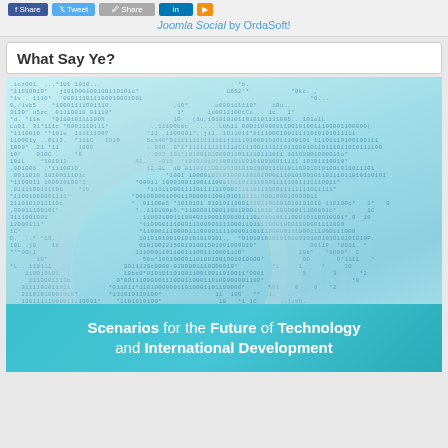Joomla Social by OrdaSoft!
What Say Ye?
[Figure (illustration): Book cover image: 'Scenarios for the Future of Technology and International Development' — light blue/cyan background filled with binary code (0s and 1s) arranged to suggest a world map, with circular ripple patterns on the left side, and a teal banner at the bottom with the title text in white bold font.]
Scenarios for the Future of Technology and International Development